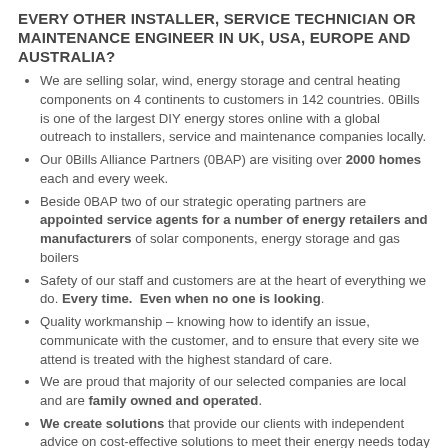EVERY OTHER INSTALLER, SERVICE TECHNICIAN OR MAINTENANCE ENGINEER IN UK, USA, EUROPE AND AUSTRALIA?
We are selling solar, wind, energy storage and central heating components on 4 continents to customers in 142 countries. 0Bills is one of the largest DIY energy stores online with a global outreach to installers, service and maintenance companies locally.
Our 0Bills Alliance Partners (0BAP) are visiting over 2000 homes each and every week.
Beside 0BAP two of our strategic operating partners are appointed service agents for a number of energy retailers and manufacturers of solar components, energy storage and gas boilers
Safety of our staff and customers are at the heart of everything we do. Every time.  Even when no one is looking.
Quality workmanship – knowing how to identify an issue, communicate with the customer, and to ensure that every site we attend is treated with the highest standard of care.
We are proud that majority of our selected companies are local and are family owned and operated.
We create solutions that provide our clients with independent advice on cost-effective solutions to meet their energy needs today and into the future.